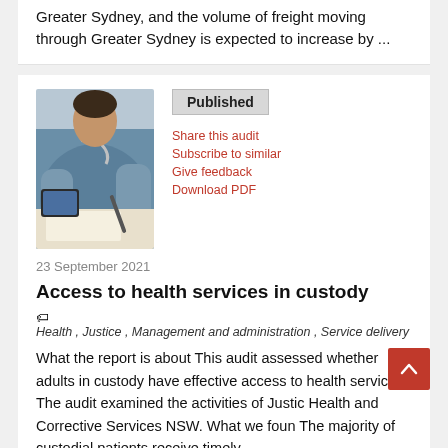Greater Sydney, and the volume of freight moving through Greater Sydney is expected to increase by ...
[Figure (photo): Photo of a healthcare worker in scrubs writing in a notebook, holding a pen, with a tablet device on the table.]
Published
Share this audit
Subscribe to similar
Give feedback
Download PDF
23 September 2021
Access to health services in custody
Health , Justice , Management and administration , Service delivery
What the report is about This audit assessed whether adults in custody have effective access to health services. The audit examined the activities of Justice Health and Corrective Services NSW. What we found The majority of custodial patients receive timely ...